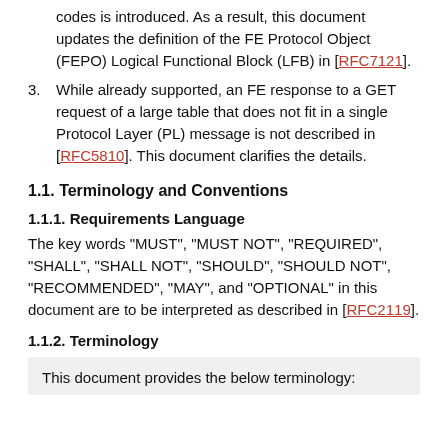codes is introduced. As a result, this document updates the definition of the FE Protocol Object (FEPO) Logical Functional Block (LFB) in [RFC7121].
3. While already supported, an FE response to a GET request of a large table that does not fit in a single Protocol Layer (PL) message is not described in [RFC5810]. This document clarifies the details.
1.1. Terminology and Conventions
1.1.1. Requirements Language
The key words "MUST", "MUST NOT", "REQUIRED", "SHALL", "SHALL NOT", "SHOULD", "SHOULD NOT", "RECOMMENDED", "MAY", and "OPTIONAL" in this document are to be interpreted as described in [RFC2119].
1.1.2. Terminology
This document provides the below terminology: